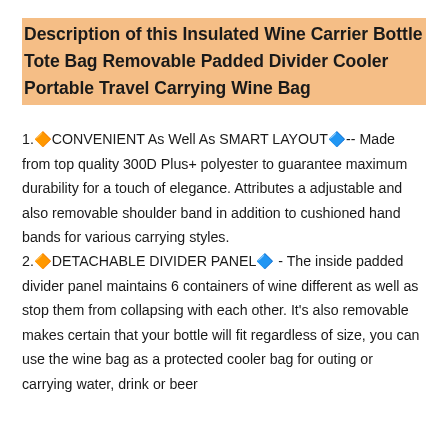Description of this Insulated Wine Carrier Bottle Tote Bag Removable Padded Divider Cooler Portable Travel Carrying Wine Bag
1.🔶CONVENIENT As Well As SMART LAYOUT🔷-- Made from top quality 300D Plus+ polyester to guarantee maximum durability for a touch of elegance. Attributes a adjustable and also removable shoulder band in addition to cushioned hand bands for various carrying styles.
2.🔶DETACHABLE DIVIDER PANEL🔷 - The inside padded divider panel maintains 6 containers of wine different as well as stop them from collapsing with each other. It's also removable makes certain that your bottle will fit regardless of size, you can use the wine bag as a protected cooler bag for outing or carrying water, drink or beer